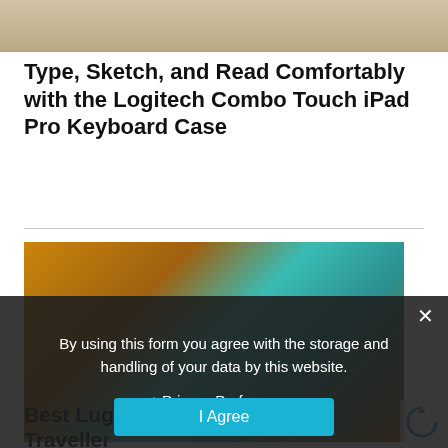[Figure (photo): Top portion of a photo showing hands near a keyboard/laptop, partially cropped at top of page]
Type, Sketch, and Read Comfortably with the Logitech Combo Touch iPad Pro Keyboard Case
[Figure (photo): Photo of luggage/bag with a teal decorative luggage tag on a woven surface]
By using this form you agree with the storage and handling of your data by this website.
Privacy Preferences
I Agree
Best Luggage … nstant Traveller